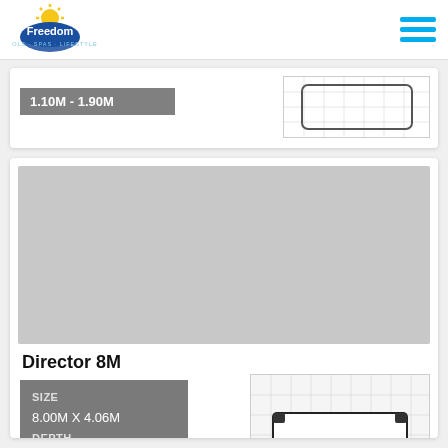Freedom Pools Spas Lifestyle
1.10M - 1.90M
[Figure (other): Pool product image placeholder (grey rectangle)]
Director 8M
SIZE
8.00M X 4.06M
DEPTH
1.14M - 1.86M
[Figure (schematic): Top-down schematic diagram of pool on grid background]